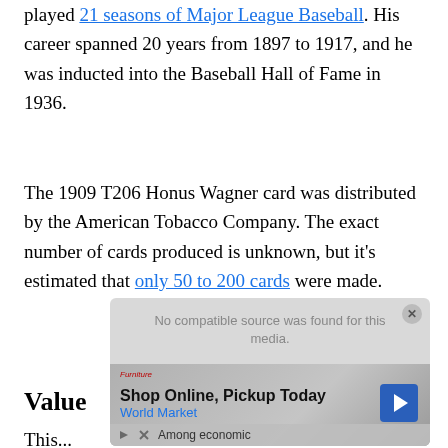played 21 seasons of Major League Baseball. His career spanned 20 years from 1897 to 1917, and he was inducted into the Baseball Hall of Fame in 1936.
The 1909 T206 Honus Wagner card was distributed by the American Tobacco Company. The exact number of cards produced is unknown, but it's estimated that only 50 to 200 cards were made.
Value
This...
[Figure (screenshot): Advertisement overlay showing 'No compatible source was found for this media.' and a World Market ad: 'Shop Online, Pickup Today' with navigation arrow icon, and partial text 'Among economic' at bottom.]